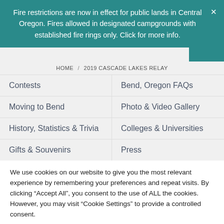Fire restrictions are now in effect for public lands in Central Oregon. Fires allowed in designated campgrounds with established fire rings only. Click for more info.
HOME / 2019 CASCADE LAKES RELAY
Contests
Bend, Oregon FAQs
Moving to Bend
Photo & Video Gallery
History, Statistics & Trivia
Colleges & Universities
Gifts & Souvenirs
Press
We use cookies on our website to give you the most relevant experience by remembering your preferences and repeat visits. By clicking "Accept All", you consent to the use of ALL the cookies. However, you may visit "Cookie Settings" to provide a controlled consent.
Cookie Settings | Accept All